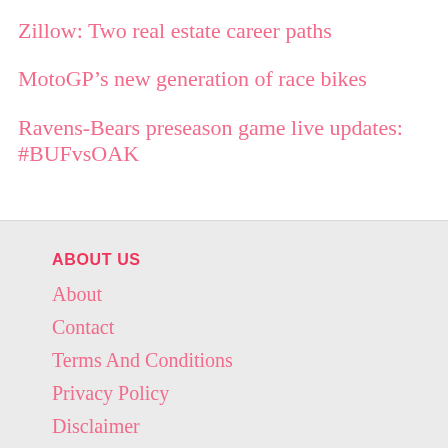Zillow: Two real estate career paths
MotoGP’s new generation of race bikes
Ravens-Bears preseason game live updates: #BUFvsOAK
ABOUT US
About
Contact
Terms And Conditions
Privacy Policy
Disclaimer